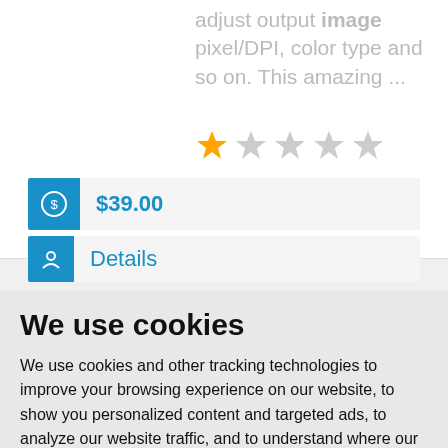adjust output image pixel/DPI, color type and so on. This amazing ...
[Figure (other): Star rating display: 1 filled orange star followed by 4 grey stars]
$39.00
Details
We use cookies
We use cookies and other tracking technologies to improve your browsing experience on our website, to show you personalized content and targeted ads, to analyze our website traffic, and to understand where our visitors are coming from.
I agree | Change my preferences